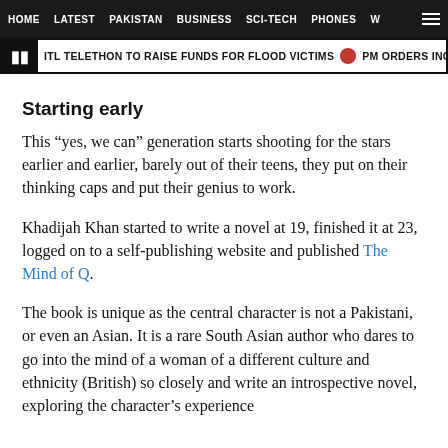HOME  LATEST  PAKISTAN  BUSINESS  SCI-TECH  PHONES  W
ITL TELETHON TO RAISE FUNDS FOR FLOOD VICTIMS  PM ORDERS INQUIRY INTO
Starting early
This “yes, we can” generation starts shooting for the stars earlier and earlier, barely out of their teens, they put on their thinking caps and put their genius to work.
Khadijah Khan started to write a novel at 19, finished it at 23, logged on to a self-publishing website and published The Mind of Q.
The book is unique as the central character is not a Pakistani, or even an Asian. It is a rare South Asian author who dares to go into the mind of a woman of a different culture and ethnicity (British) so closely and write an introspective novel, exploring the character’s experience